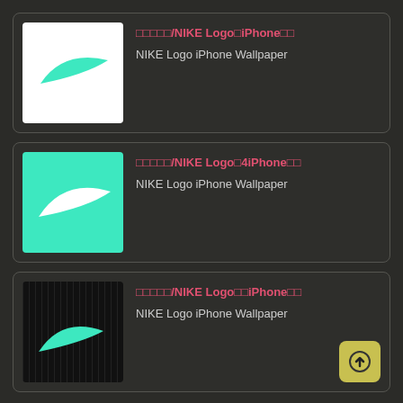[Figure (screenshot): White background thumbnail with mint/teal Nike swoosh logo]
□□□□□/NIKE Logo□iPhone□□
NIKE Logo iPhone Wallpaper
[Figure (screenshot): Teal/mint background thumbnail with white Nike swoosh logo]
□□□□□/NIKE Logo□4iPhone□□
NIKE Logo iPhone Wallpaper
[Figure (screenshot): Dark/black background thumbnail with teal Nike swoosh logo and vertical stripe texture]
□□□□□/NIKE Logo□□iPhone□□
NIKE Logo iPhone Wallpaper